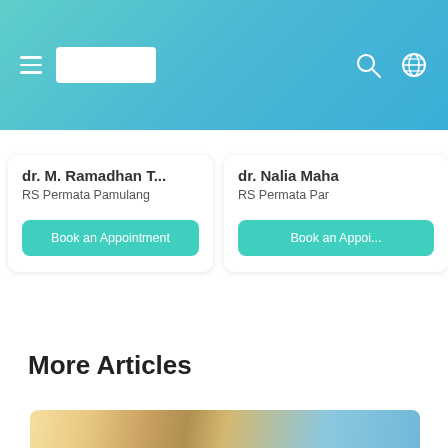Navigation header with hamburger menu, logo, search icon, and globe icon
dr. M. Ramadhan T...
RS Permata Pamulang
Book an Appointment
dr. Nalia Maha...
RS Permata Par...
Book an Appoi...
More Articles
[Figure (photo): Partial photo of a child/person from below, blurred/cropped at bottom of page]